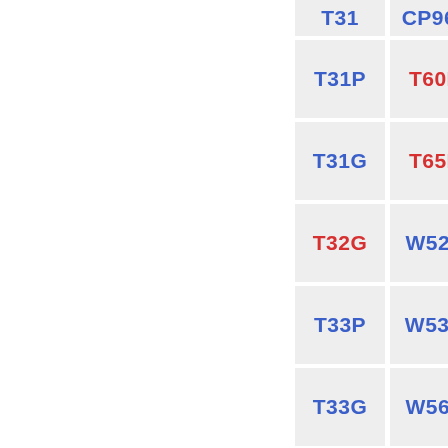| Column1 | Column2 |
| --- | --- |
| T31 | CP960 |
| T31P | T60P |
| T31G | T65P |
| T32G | W52P |
| T33P | W53H |
| T33G | W56P |
| T38G | W60B |
| T40G | W70B |
| T41P | W80B |
| T41S | W90DM |
| T42G |  |
| T42S |  |